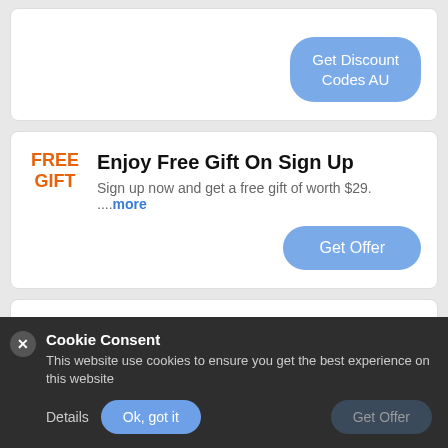[Figure (screenshot): Partial card showing a 'Get Discount Codes AU' button in the upper area]
Enjoy Free Gift On Sign Up
Sign up now and get a free gift of worth $29. ...more
[Figure (screenshot): Get Offer button for Free Gift card]
Receive 14% Off On Order Of Standard Doppler
Take 14% off on order of Standard Doppler. ...more
[Figure (screenshot): Get Offer button for 14% off card (partially visible)]
Cookie Consent
This website use cookies to ensure you get the best experience on this website
Details   Ok, got it   Get Offer